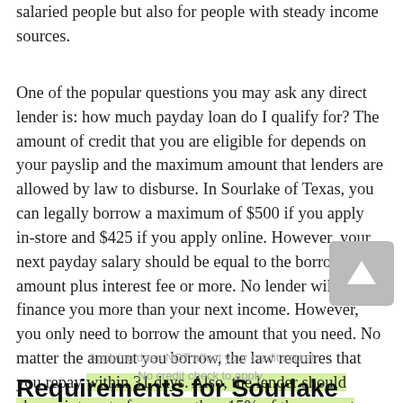salaried people but also for people with steady income sources.
One of the popular questions you may ask any direct lender is: how much payday loan do I qualify for? The amount of credit that you are eligible for depends on your payslip and the maximum amount that lenders are allowed by law to disburse. In Sourlake of Texas, you can legally borrow a maximum of $500 if you apply in-store and $425 if you apply online. However, your next payday salary should be equal to the borrowed amount plus interest fee or more. No lender will finance you more than your next income. However, you only need to borrow the amount that you need. No matter the amount you borrow, the law requires that you repay within 31 days. Also, the lender should charge interest of no more than 15% of the amount borrowed.
Applying does NOT affect your credit score!
No credit check to apply.
Requirements for Sourlake Payday